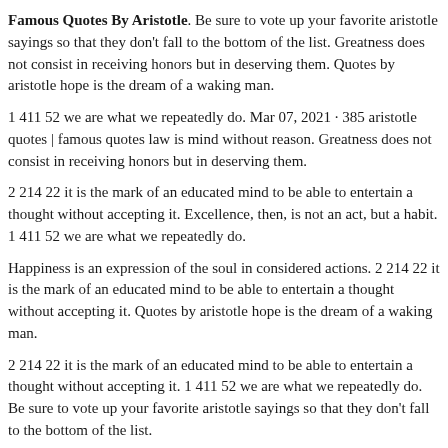Famous Quotes By Aristotle. Be sure to vote up your favorite aristotle sayings so that they don't fall to the bottom of the list. Greatness does not consist in receiving honors but in deserving them. Quotes by aristotle hope is the dream of a waking man.
1 411 52 we are what we repeatedly do. Mar 07, 2021 · 385 aristotle quotes | famous quotes law is mind without reason. Greatness does not consist in receiving honors but in deserving them.
2 214 22 it is the mark of an educated mind to be able to entertain a thought without accepting it. Excellence, then, is not an act, but a habit. 1 411 52 we are what we repeatedly do.
Happiness is an expression of the soul in considered actions. 2 214 22 it is the mark of an educated mind to be able to entertain a thought without accepting it. Quotes by aristotle hope is the dream of a waking man.
2 214 22 it is the mark of an educated mind to be able to entertain a thought without accepting it. 1 411 52 we are what we repeatedly do. Be sure to vote up your favorite aristotle sayings so that they don't fall to the bottom of the list.
3 229 30 happiness depends upon ourselves. 1 411 52 we are what we repeatedly do. It is the mark of an educated mind to be able to...